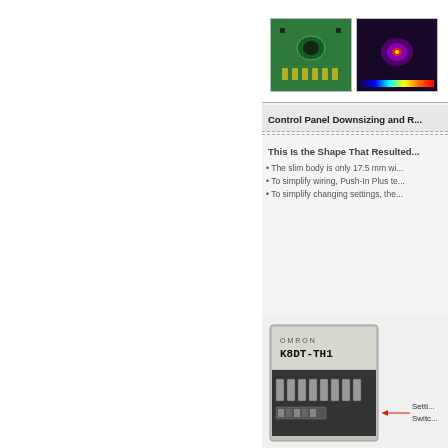[Figure (photo): Two product images: a green circuit board/sensor module and a thermal imaging result displayed on dark background with color scale bar. Partially cropped at top, text 'resu...' and 'for s...' visible at far right.]
Control Panel Downsizing and R...
This Is the Shape That Resulted...
• The slim body is only 17.5 mm wi...
• To simplify wiring, Push-In Plus te...
• To simplify changing settings, the...
[Figure (photo): OMRON K8DT-TH1 product device with Setting Switch annotation arrow pointing to the device body.]